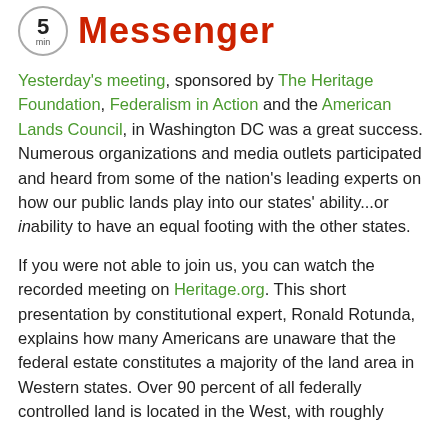5min Messenger
Yesterday's meeting, sponsored by The Heritage Foundation, Federalism in Action and the American Lands Council, in Washington DC was a great success. Numerous organizations and media outlets participated and heard from some of the nation's leading experts on how our public lands play into our states' ability...or inability to have an equal footing with the other states.
If you were not able to join us, you can watch the recorded meeting on Heritage.org. This short presentation by constitutional expert, Ronald Rotunda, explains how many Americans are unaware that the federal estate constitutes a majority of the land area in Western states. Over 90 percent of all federally controlled land is located in the West, with roughly